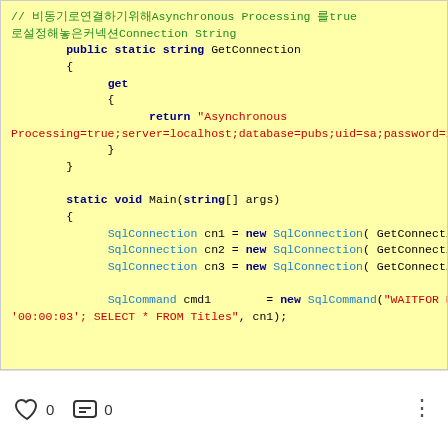// 비동기로연결하기위해Asynchronous Processing 를true
로설정해놓은커넥션Connection String
public static string GetConnection
{
    get
    {
        return "Asynchronous Processing=true;server=localhost;database=pubs;uid=sa;password=xxxx";
    }
}

static void Main(string[] args)
{
    SqlConnection cn1 = new SqlConnection( GetConnection );
    SqlConnection cn2 = new SqlConnection( GetConnection );
    SqlConnection cn3 = new SqlConnection( GetConnection );

    SqlCommand cmd1        = new SqlCommand("WAITFOR DELAY '00:00:03'; SELECT * FROM Titles", cn1);
}
0  0  ⋮